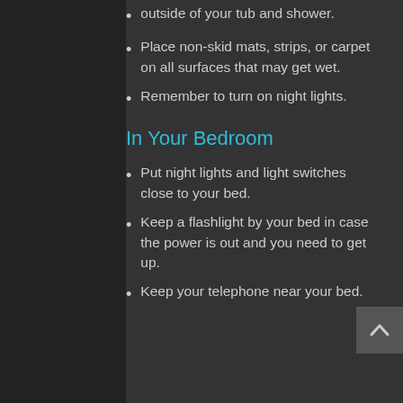outside of your tub and shower.
Place non-skid mats, strips, or carpet on all surfaces that may get wet.
Remember to turn on night lights.
In Your Bedroom
Put night lights and light switches close to your bed.
Keep a flashlight by your bed in case the power is out and you need to get up.
Keep your telephone near your bed.